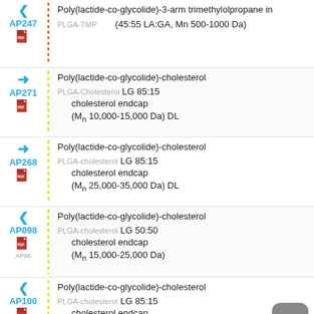AP247 Poly(lactide-co-glycolide)-3-arm trimethylolpropane initiated PLGA-TMP (45:55 LA:GA, Mn 500-1000 Da)
AP271 Poly(lactide-co-glycolide)-cholesterol PLGA-Cholesterol LG 85:15 cholesterol endcap (Mn 10,000-15,000 Da) DL
AP268 Poly(lactide-co-glycolide)-cholesterol PLGA-cholesterol LG 85:15 cholesterol endcap (Mn 25,000-35,000 Da) DL
AP098 Poly(lactide-co-glycolide)-cholesterol PLGA-cholesterol LG 50:50 cholesterol endcap (Mn 15,000-25,000 Da) [AP98]
AP100 Poly(lactide-co-glycolide)-cholesterol PLGA-cholesterol LG 85:15 cholesterol endcap (Mn 15,000-25,000 Da)